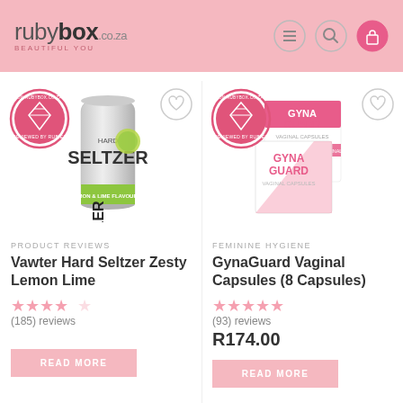rubybox.co.za BEAUTIFUL YOU
[Figure (photo): Vawter Hard Seltzer Zesty Lemon Lime can product photo with 'Reviewed by Rubies on rubybox.co.za' badge]
PRODUCT REVIEWS
Vawter Hard Seltzer Zesty Lemon Lime
(185) reviews
READ MORE
[Figure (photo): GynaGuard Vaginal Capsules box product photo with 'Reviewed by Rubies on rubybox.co.za' badge]
FEMININE HYGIENE
GynaGuard Vaginal Capsules (8 Capsules)
(93) reviews
R174.00
READ MORE